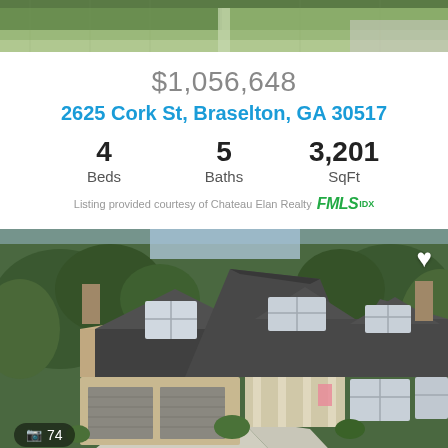[Figure (photo): Aerial view of green lawn/yard at top of page, cropped]
$1,056,648
2625 Cork St, Braselton, GA 30517
4 Beds   5 Baths   3,201 SqFt
Listing provided courtesy of Chateau Elan Realty FMLS IDX
[Figure (photo): Aerial drone photo of a large brick and stone house with dark gray roof, three-car garage, covered porch, and landscaping. Photo counter showing 74 photos is visible at bottom left. Heart/favorite icon at top right.]
$979,000